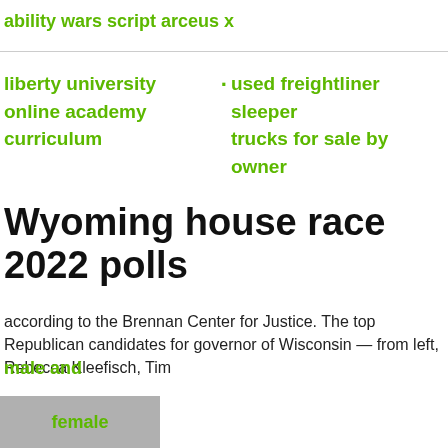ability wars script arceus x
liberty university online academy curriculum
· used freightliner sleeper trucks for sale by owner
Wyoming house race 2022 polls
according to the Brennan Center for Justice. The top Republican candidates for governor of Wisconsin — from left, Rebecca Kleefisch, Tim
male and
female